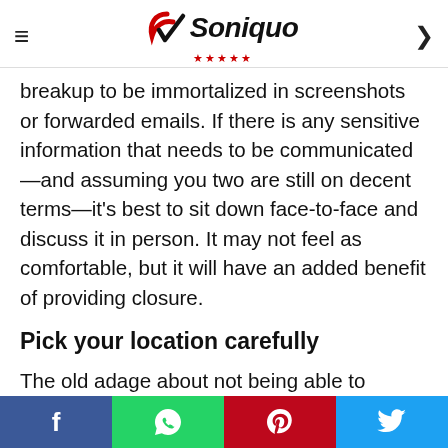Soniquo
breakup to be immortalized in screenshots or forwarded emails. If there is any sensitive information that needs to be communicated—and assuming you two are still on decent terms—it's best to sit down face-to-face and discuss it in person. It may not feel as comfortable, but it will have an added benefit of providing closure.
Pick your location carefully
The old adage about not being able to choose your